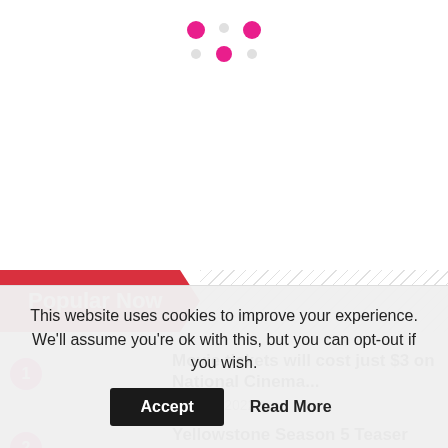[Figure (logo): Six-dot logo mark in pink/magenta arranged in a 3x2 grid pattern]
Popular Now
Movie tickets will cost just $3 on National Cinema...
Aug 29, 2022
Yellowstone Season 5 Teaser Trailer
This website uses cookies to improve your experience. We'll assume you're ok with this, but you can opt-out if you wish.
Accept   Read More